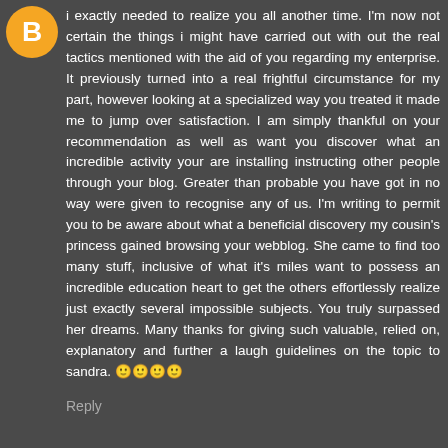[Figure (illustration): Orange circular avatar with a white letter B or similar icon inside]
i exactly needed to realize you all another time. I'm now not certain the things i might have carried out with out the real tactics mentioned with the aid of you regarding my enterprise. It previously turned into a real frightful circumstance for my part, however looking at a specialized way you treated it made me to jump over satisfaction. I am simply thankful on your recommendation as well as want you discover what an incredible activity your are installing instructing other people through your blog. Greater than probable you have got in no way were given to recognise any of us. I'm writing to permit you to be aware about what a beneficial discovery my cousin's princess gained browsing your webblog. She came to find too many stuff, inclusive of what it's miles want to possess an incredible education heart to get the others effortlessly realize just exactly several impossible subjects. You truly surpassed her dreams. Many thanks for giving such valuable, relied on, explanatory and further a laugh guidelines on the topic to sandra. 🙂🙂🙂🙂
Reply